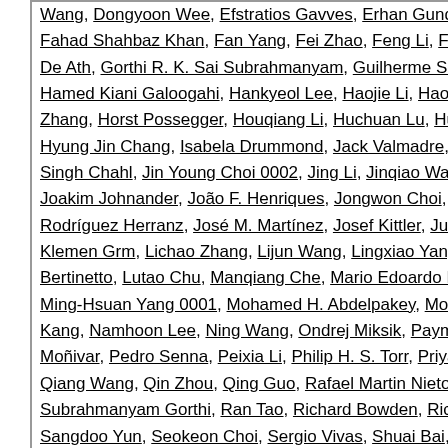Wang, Dongyoon Wee, Efstratios Gavves, Erhan Gundogdu, E... Fahad Shahbaz Khan, Fan Yang, Fei Zhao, Feng Li, Francesco De Ath, Gorthi R. K. Sai Subrahmanyam, Guilherme Sousa Bas... Hamed Kiani Galoogahi, Hankyeol Lee, Haojie Li, Haojie Zhao, Zhang, Horst Possegger, Houqiang Li, Huchuan Lu, Hui Zhi, Hu... Hyung Jin Chang, Isabela Drummond, Jack Valmadre, Jaime Sp... Singh Chahl, Jin Young Choi 0002, Jing Li, Jinqiao Wang, Jinqir... Joakim Johnander, João F. Henriques, Jongwon Choi, Joost va... Rodríguez Herranz, José M. Martínez, Josef Kittler, Junfei Zhua... Klemen Grm, Lichao Zhang, Lijun Wang, Lingxiao Yang, Litu Ro... Bertinetto, Lutao Chu, Manqiang Che, Mario Edoardo Maresca,  Ming-Hsuan Yang 0001, Mohamed H. Abdelpakey, Mohamed Sh... Kang, Namhoon Lee, Ning Wang, Ondrej Miksik, Payman Moall... Moñivar, Pedro Senna, Peixia Li, Philip H. S. Torr, Priya Mariam... Qiang Wang, Qin Zhou, Qing Guo, Rafael Martin Nieto, Rama K... Subrahmanyam Gorthi, Ran Tao, Richard Bowden, Richard Eve... Sangdoo Yun, Seokeon Choi, Sergio Vivas, Shuai Bai, Shuangp... Wu, Simon Hadfield, Siwen Wang, Stuart Golodetz, Ming Tang,